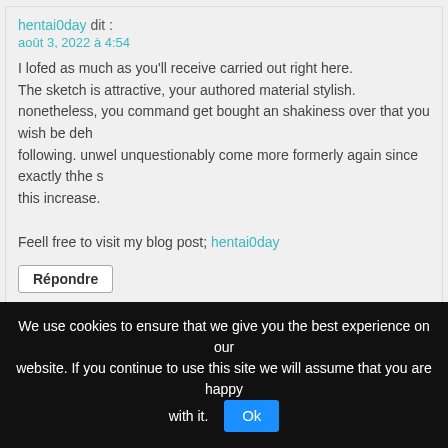hentai0day dit :
août 3, 2022 à 4:54
I lofed as much as you'll receive carried out right here.
The sketch is attractive, your authored material stylish.
nonetheless, you command get bought an shakiness over that you wish be delivering the following. unwel unquestionably come more formerly again since exactly thhe same nearly a lot this increase.

Feell free to visit my blog post; hentai0day
Répondre
bmshlg.com dit :
août 3, 2022 à 6:05
I feel that is one of the so much important info for me.

And i'm satisfied studying your article. However should remark
We use cookies to ensure that we give you the best experience on our website. If you continue to use this site we will assume that you are happy with it.  Ok